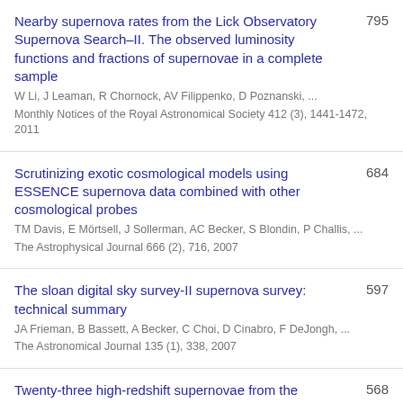Nearby supernova rates from the Lick Observatory Supernova Search–II. The observed luminosity functions and fractions of supernovae in a complete sample | W Li, J Leaman, R Chornock, AV Filippenko, D Poznanski, ... | Monthly Notices of the Royal Astronomical Society 412 (3), 1441-1472, 2011 | 795
Scrutinizing exotic cosmological models using ESSENCE supernova data combined with other cosmological probes | TM Davis, E Mörtsell, J Sollerman, AC Becker, S Blondin, P Challis, ... | The Astrophysical Journal 666 (2), 716, 2007 | 684
The sloan digital sky survey-II supernova survey: technical summary | JA Frieman, B Bassett, A Becker, C Choi, D Cinabro, F DeJongh, ... | The Astronomical Journal 135 (1), 338, 2007 | 597
Twenty-three high-redshift supernovae from the Institute for Astronomy Deep Survey: Doubling the | 568